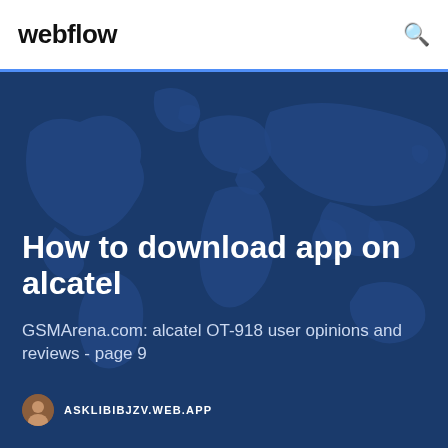webflow
How to download app on alcatel
GSMArena.com: alcatel OT-918 user opinions and reviews - page 9
ASKLIBIBJZV.WEB.APP